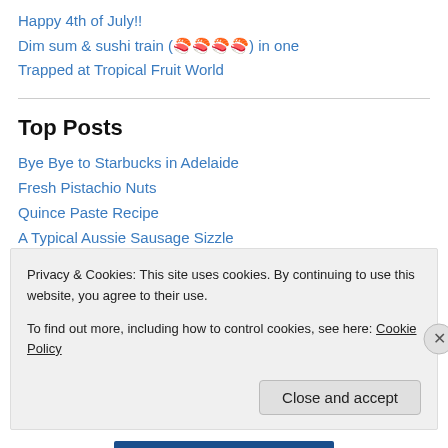Happy 4th of July!!
Dim sum & sushi train (🍣🍣🍣🍣) in one
Trapped at Tropical Fruit World
Top Posts
Bye Bye to Starbucks in Adelaide
Fresh Pistachio Nuts
Quince Paste Recipe
A Typical Aussie Sausage Sizzle
Happy New Year, New Plastic Bag Bans
Masterchef Australia Finale
Privacy & Cookies: This site uses cookies. By continuing to use this website, you agree to their use. To find out more, including how to control cookies, see here: Cookie Policy
Close and accept